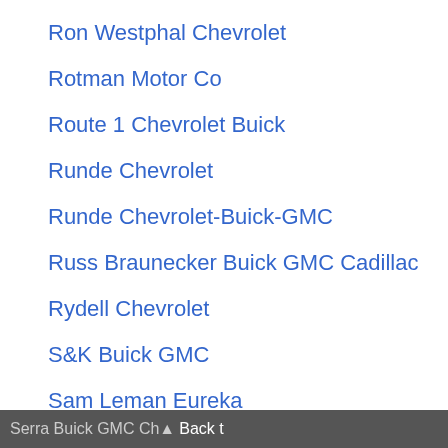Ron Westphal Chevrolet
Rotman Motor Co
Route 1 Chevrolet Buick
Runde Chevrolet
Runde Chevrolet-Buick-GMC
Russ Braunecker Buick GMC Cadillac
Rydell Chevrolet
S&K Buick GMC
Sam Leman Eureka
Sauers Buick GMC
Schepel Buick-GMC
Schimmer Chevrolet Buick
Serra Buick GMC Ch▲
Research Request
You are invited to take part in a short Cars.com survey.

Upon completion, you'll be entered to win a $50 amazon gift card. Interested?

Click here to participate